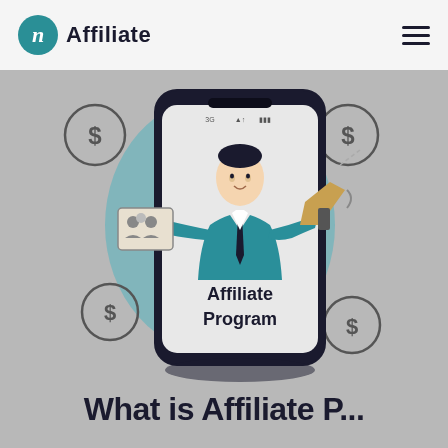[Figure (logo): inAffiliate logo: teal circle with italic 'n' followed by bold text 'Affiliate']
[Figure (illustration): Illustration of a businessman in a teal suit emerging from a smartphone screen, holding a group/people icon card in one hand and a megaphone in the other. The phone screen reads 'Affiliate Program'. Dollar sign coins float around the phone on a gray background with a teal oval shape behind the figure.]
What is Affiliate P...